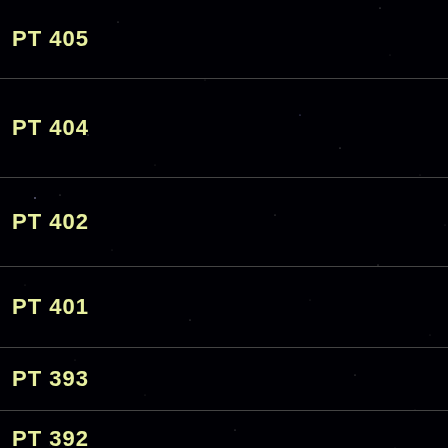[Figure (photo): Astronomical image showing a black sky with scattered stars and labeled horizontal band rows for stellar objects PT 405, PT 404, PT 402, PT 401, PT 393, PT 392, PT 399, PT 398, PT 396, PT 395, PT 394]
PT 405
PT 404
PT 402
PT 401
PT 393
PT 392
PT 399
PT 398
PT 396
PT 395
PT 394